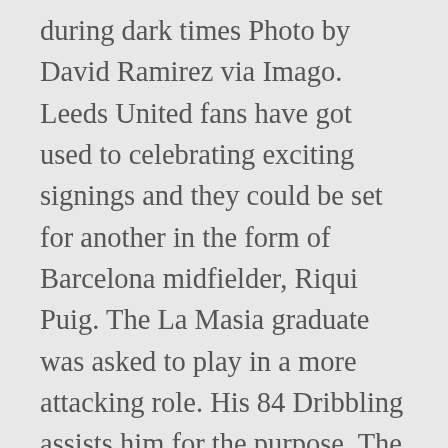during dark times Photo by David Ramirez via Imago. Leeds United fans have got used to celebrating exciting signings and they could be set for another in the form of Barcelona midfielder, Riqui Puig. The La Masia graduate was asked to play in a more attacking role. His 84 Dribbling assists him for the purpose. The Spanish national team has, for a long time, been one of the giants of the international game. 28. If not, a loan deal would be a viable choice. Pie malo . We have got every single player's stats for you on our website. That doesn't mean that the Catalan giants are left with a bunch of scrubs. At the foot of the article, you'll find all of the best Spanish wonderkids in FIFA 21 with those with